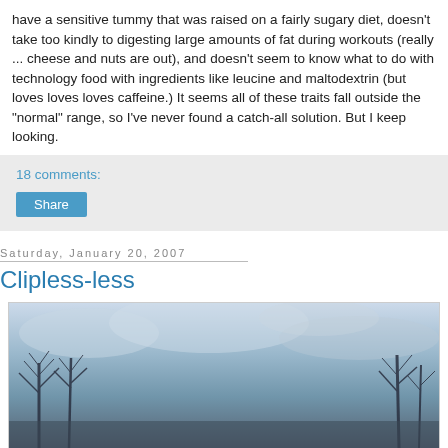have a sensitive tummy that was raised on a fairly sugary diet, doesn't take too kindly to digesting large amounts of fat during workouts (really ... cheese and nuts are out), and doesn't seem to know what to do with technology food with ingredients like leucine and maltodextrin (but loves loves loves caffeine.) It seems all of these traits fall outside the "normal" range, so I've never found a catch-all solution. But I keep looking.
18 comments:
Share
Saturday, January 20, 2007
Clipless-less
[Figure (photo): Outdoor winter scene with bare tree branches against a moody blue-grey cloudy sky]